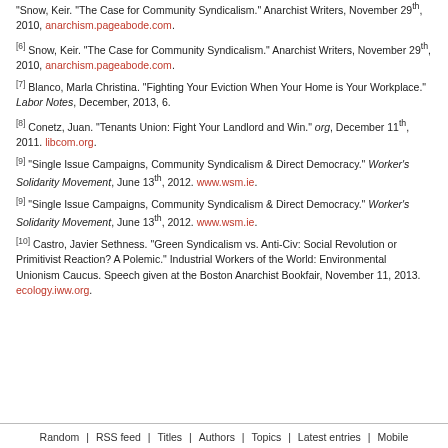Snow, Keir. "The Case for Community Syndicalism." Anarchist Writers, November 29th, 2010, anarchism.pageabode.com.
[6] Snow, Keir. "The Case for Community Syndicalism." Anarchist Writers, November 29th, 2010, anarchism.pageabode.com.
[7] Blanco, Marla Christina. "Fighting Your Eviction When Your Home is Your Workplace." Labor Notes, December, 2013, 6.
[8] Conetz, Juan. "Tenants Union: Fight Your Landlord and Win." org, December 11th, 2011. libcom.org.
[9] "Single Issue Campaigns, Community Syndicalism & Direct Democracy." Worker's Solidarity Movement, June 13th, 2012. www.wsm.ie.
[9] "Single Issue Campaigns, Community Syndicalism & Direct Democracy." Worker's Solidarity Movement, June 13th, 2012. www.wsm.ie.
[10] Castro, Javier Sethness. "Green Syndicalism vs. Anti-Civ: Social Revolution or Primitivist Reaction? A Polemic." Industrial Workers of the World: Environmental Unionism Caucus. Speech given at the Boston Anarchist Bookfair, November 11, 2013. ecology.iww.org.
Random | RSS feed | Titles | Authors | Topics | Latest entries | Mobile